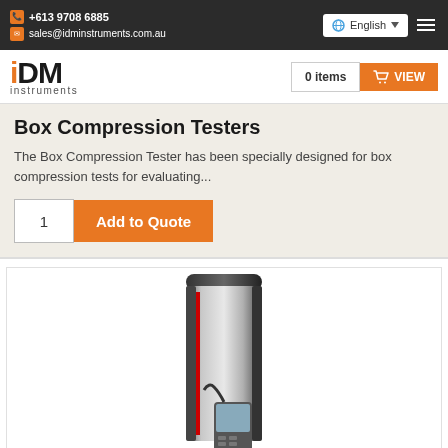+613 9708 6885 | sales@idminstruments.com.au | English
[Figure (logo): IDM Instruments logo with orange accent on 'i' and 'instruments' text below]
0 items  VIEW
Box Compression Testers
The Box Compression Tester has been specially designed for box compression tests for evaluating...
1  Add to Quote
[Figure (photo): Box Compression Tester instrument - tall cylindrical silver/chrome device with a handheld controller attached]